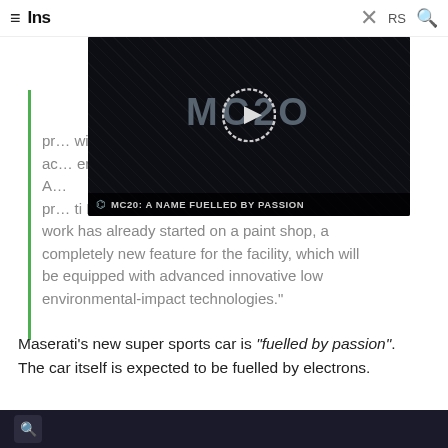≡ Ins × RS 🔍
[Figure (screenshot): Video thumbnail showing Maserati MC20 logo on dark background with play button overlay and caption 'MC20: A NAME FUELLED BY PASSION']
pr… will also ac… ertrain. A… pr… ti Plant, work has already started on a paint shop, a completely new feature for the facility, which will be equipped with advanced innovative low environmental-impact technologies."
Maserati's new super sports car is "fuelled by passion". The car itself is expected to be fuelled by electrons.
[Figure (screenshot): Bottom dark banner with search icon]